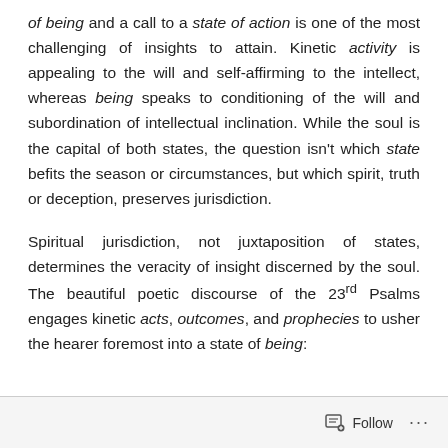of being and a call to a state of action is one of the most challenging of insights to attain. Kinetic activity is appealing to the will and self-affirming to the intellect, whereas being speaks to conditioning of the will and subordination of intellectual inclination. While the soul is the capital of both states, the question isn't which state befits the season or circumstances, but which spirit, truth or deception, preserves jurisdiction.
Spiritual jurisdiction, not juxtaposition of states, determines the veracity of insight discerned by the soul. The beautiful poetic discourse of the 23rd Psalms engages kinetic acts, outcomes, and prophecies to usher the hearer foremost into a state of being:
Follow ···